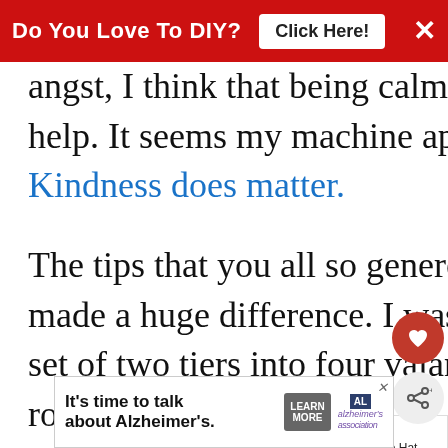Do You Love To DIY?  Click Here!  ×
angst, I think that being calm myself was a huge help. It seems my machine appreciated it as well. Kindness does matter.
The tips that you all so generously shared with me made a huge difference. I was able to transform a set of two tiers into four valances for my living room time at all. It was a simple task and, as I s
[Figure (other): What's Next panel: circular photo thumbnail next to text 'WHAT'S NEXT → My Sewing Machine Hat...']
[Figure (other): Bottom advertisement: It's time to talk about Alzheimer's. LEARN MORE. Alzheimer's Association logo.]